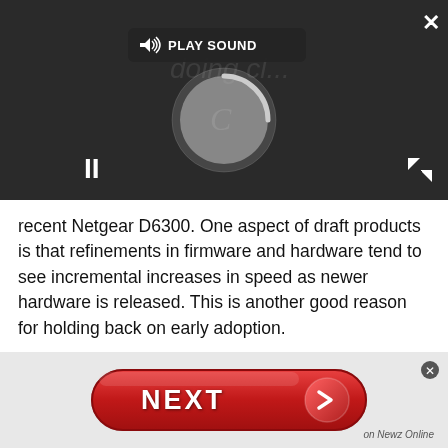[Figure (screenshot): A dark video player UI with a 'PLAY SOUND' button/bar at top, a loading spinner circle in the center, a pause (II) button at bottom-left, an expand icon at bottom-right, and a close X at top-right.]
recent Netgear D6300. One aspect of draft products is that refinements in firmware and hardware tend to see incremental increases in speed as newer hardware is released. This is another good reason for holding back on early adoption.
This Netgear D6300 retains the enormous chassis design of its Netgear R6300 brother. Stood upright, it's 255mm wide, 205mm high and 77mm deep (10.04 x 8.07 x 3.03 inches). It looks far the sleeker compared...
[Figure (screenshot): A red pill-shaped 'NEXT' button with a right-arrow circle on the right side and a small 'on Newz Online' label below-right. A small close-circle icon appears top-right of the banner.]